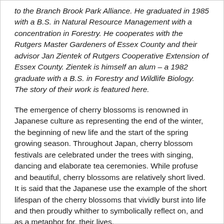to the Branch Brook Park Alliance. He graduated in 1985 with a B.S. in Natural Resource Management with a concentration in Forestry. He cooperates with the Rutgers Master Gardeners of Essex County and their advisor Jan Zientek of Rutgers Cooperative Extension of Essex County. Zientek is himself an alum – a 1982 graduate with a B.S. in Forestry and Wildlife Biology. The story of their work is featured here.
The emergence of cherry blossoms is renowned in Japanese culture as representing the end of the winter, the beginning of new life and the start of the spring growing season. Throughout Japan, cherry blossom festivals are celebrated under the trees with singing, dancing and elaborate tea ceremonies. While profuse and beautiful, cherry blossoms are relatively short lived. It is said that the Japanese use the example of the short lifespan of the cherry blossoms that vividly burst into life and then proudly whither to symbolically reflect on, and as a metaphor for, their lives.